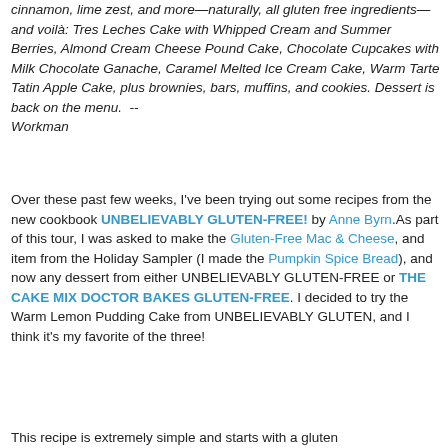cinnamon, lime zest, and more—naturally, all gluten free ingredients—and voilà: Tres Leches Cake with Whipped Cream and Summer Berries, Almond Cream Cheese Pound Cake, Chocolate Cupcakes with Milk Chocolate Ganache, Caramel Melted Ice Cream Cake, Warm Tarte Tatin Apple Cake, plus brownies, bars, muffins, and cookies. Dessert is back on the menu.  -- Workman
Over these past few weeks, I've been trying out some recipes from the new cookbook UNBELIEVABLY GLUTEN-FREE! by Anne Byrn.As part of this tour, I was asked to make the Gluten-Free Mac & Cheese, and item from the Holiday Sampler (I made the Pumpkin Spice Bread), and now any dessert from either UNBELIEVABLY GLUTEN-FREE or THE CAKE MIX DOCTOR BAKES GLUTEN-FREE. I decided to try the Warm Lemon Pudding Cake from UNBELIEVABLY GLUTEN, and I think it's my favorite of the three!
This recipe is extremely simple and starts with a gluten